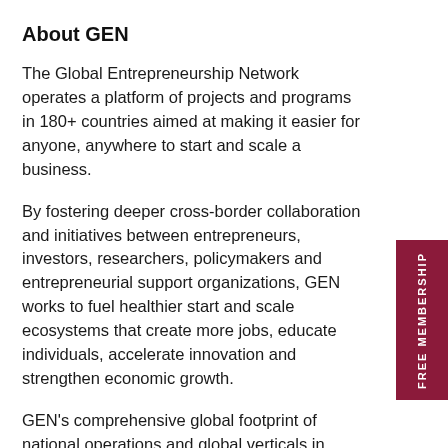About GEN
The Global Entrepreneurship Network operates a platform of projects and programs in 180+ countries aimed at making it easier for anyone, anywhere to start and scale a business.
By fostering deeper cross-border collaboration and initiatives between entrepreneurs, investors, researchers, policymakers and entrepreneurial support organizations, GEN works to fuel healthier start and scale ecosystems that create more jobs, educate individuals, accelerate innovation and strengthen economic growth.
GEN’s comprehensive global footprint of national operations and global verticals in policy, research and programs ensures members have uncommon access to the most relevant knowledge, networks, communities and programs relative to size of economy, maturity of